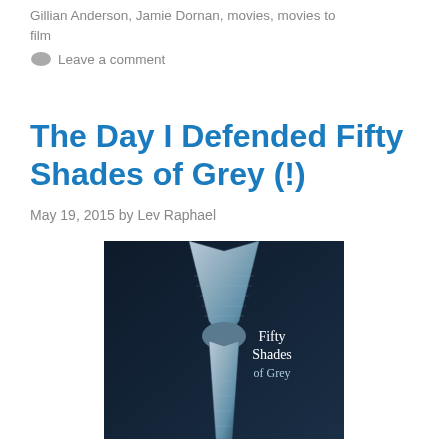Gillian Anderson, Jamie Dornan, movies, movies to film
💬 Leave a comment
The Day I Defended Fifty Shades of Grey (!)
May 19, 2015 by Lev Raphael
[Figure (photo): Book cover of Fifty Shades of Grey showing a silver tie on a dark background with text 'Fifty Shades of Grey']